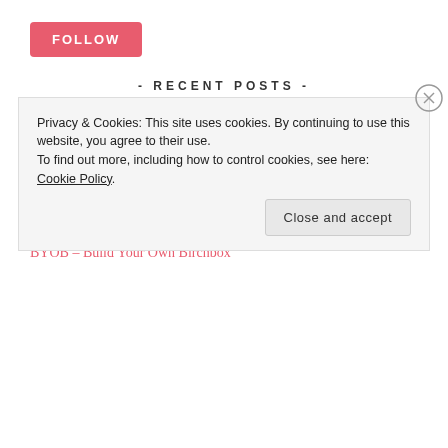FOLLOW
- RECENT POSTS -
(Don't) Look At Me Now
#TBT – Christopher Kane for NARS
Face Mask Review: Cup O' Coffee
BYOB – Build Your Own Birchbox
Privacy & Cookies: This site uses cookies. By continuing to use this website, you agree to their use.
To find out more, including how to control cookies, see here: Cookie Policy

Close and accept